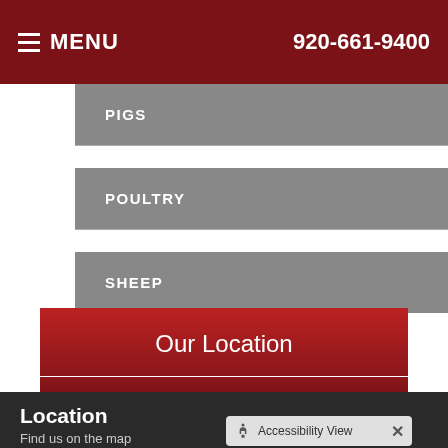MENU  920-661-9400
PIGS
POULTRY
SHEEP
Our Location
Location
Find us on the map
Accessibility View